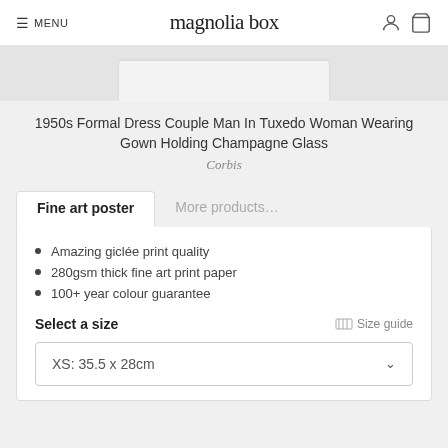≡ MENU   magnolia box
[Figure (photo): Partial product image visible at top, cropped]
1950s Formal Dress Couple Man In Tuxedo Woman Wearing Gown Holding Champagne Glass
Corbis
Fine art poster | More products...
Amazing giclée print quality
280gsm thick fine art print paper
100+ year colour guarantee
Select a size   Size guide
XS: 35.5 x 28cm